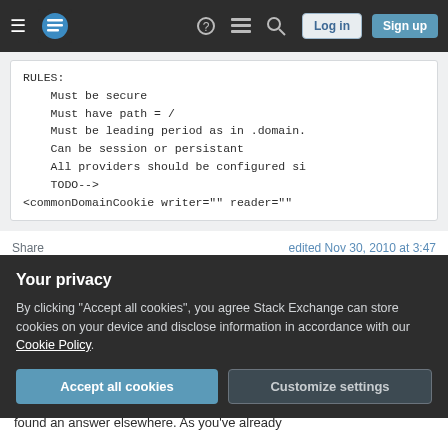Stack Exchange navigation bar with Log in and Sign up buttons
RULES:
    Must be secure
    Must have path = /
    Must be leading period as in .domain.
    Can be session or persistant
    All providers should be configured si
    TODO-->
<commonDomainCookie writer="" reader=""
Share
edited Nov 30, 2010 at 3:47
Improve this answer
Follow
Your privacy
By clicking "Accept all cookies", you agree Stack Exchange can store cookies on your device and disclose information in accordance with our Cookie Policy.
Accept all cookies
Customize settings
found an answer elsewhere. As you've already